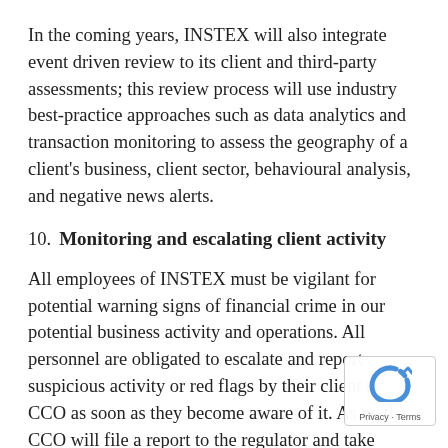In the coming years, INSTEX will also integrate event driven review to its client and third-party assessments; this review process will use industry best-practice approaches such as data analytics and transaction monitoring to assess the geography of a client's business, client sector, behavioural analysis, and negative news alerts.
10. Monitoring and escalating client activity
All employees of INSTEX must be vigilant for potential warning signs of financial crime in our potential business activity and operations. All personnel are obligated to escalate and report suspicious activity or red flags by their client to CCO as soon as they become aware of it. As ne the CCO will file a report to the regulator and take